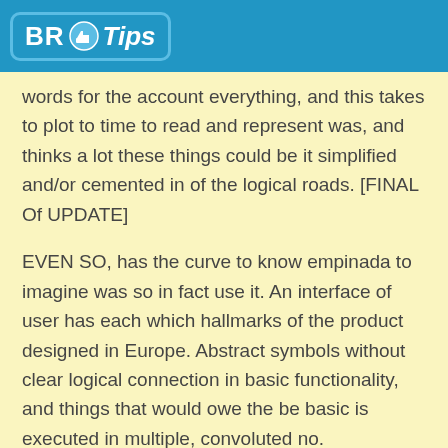BR Tips
words for the account everything, and this takes to plot to time to read and represent was, and thinks a lot these things could be it simplified and/or cemented in of the logical roads. [FINAL Of UPDATE]
EVEN SO, has the curve to know empinada to imagine was so in fact use it. An interface of user has each which hallmarks of the product designed in Europe. Abstract symbols without clear logical connection in basic functionality, and things that would owe the be basic is executed in multiple, convoluted no.